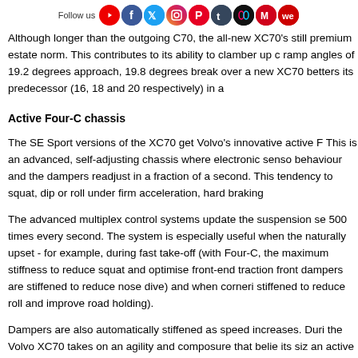Follow us [social media icons]
Although longer than the outgoing C70, the all-new XC70's still premium estate norm. This contributes to its ability to clamber up c ramp angles of 19.2 degrees approach, 19.8 degrees break over a new XC70 betters its predecessor (16, 18 and 20 respectively) in a
Active Four-C chassis
The SE Sport versions of the XC70 get Volvo's innovative active F This is an advanced, self-adjusting chassis where electronic senso behaviour and the dampers readjust in a fraction of a second. This tendency to squat, dip or roll under firm acceleration, hard braking
The advanced multiplex control systems update the suspension se 500 times every second. The system is especially useful when the naturally upset - for example, during fast take-off (with Four-C, the maximum stiffness to reduce squat and optimise front-end traction front dampers are stiffened to reduce nose dive) and when corneri stiffened to reduce roll and improve road holding).
Dampers are also automatically stiffened as speed increases. Duri the Volvo XC70 takes on an agility and composure that belie its siz an active chassis, the car's driving behaviour improves in all situati Tomas Ahlborg. 'It is both safer and more entertaining to drive.'